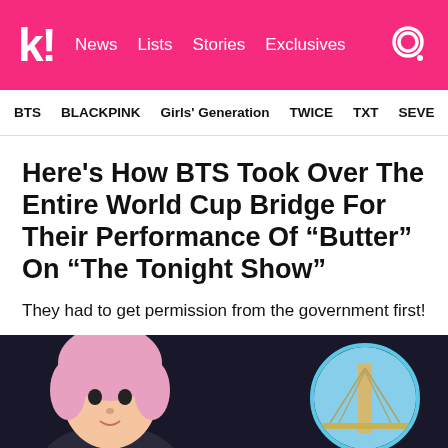k! News Lists Stories Exclusives
BTS BLACKPINK Girls' Generation TWICE TXT SEVE
Here's How BTS Took Over The Entire World Cup Bridge For Their Performance Of “Butter” On “The Tonight Show”
They had to get permission from the government first!
[Figure (photo): Photo of a BTS member with pink hair on a dark background, alongside a circular inset image of a cable-stayed bridge against a blue sky]